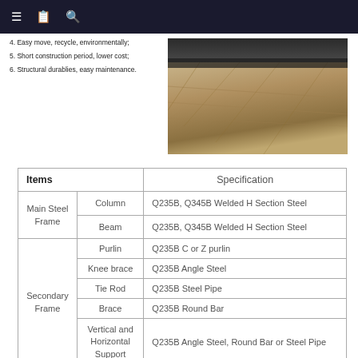4. Easy move, recycle, environmentally;
5. Short construction period, lower cost;
6. Structural durablies, easy maintenance.
[Figure (photo): Aerial or ground-level photo of a construction site with gravel/dirt ground.]
| Items |  | Specification |
| --- | --- | --- |
| Main Steel Frame | Column | Q235B, Q345B Welded H Section Steel |
| Main Steel Frame | Beam | Q235B, Q345B Welded H Section Steel |
| Secondary Frame | Purlin | Q235B C or Z purlin |
| Secondary Frame | Knee brace | Q235B Angle Steel |
| Secondary Frame | Tie Rod | Q235B Steel Pipe |
| Secondary Frame | Brace | Q235B Round Bar |
| Secondary Frame | Vertical and Horizontal Support | Q235B Angle Steel, Round Bar or Steel Pipe |
| Secondary Frame |  | EPS Sandwich Panel / |